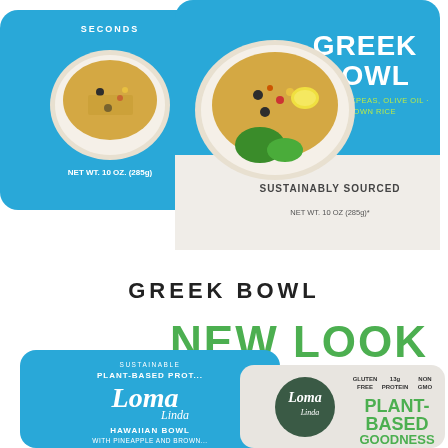[Figure (photo): Two Loma Linda food product packages: left shows a blue pouch with 'NET WT. 10 OZ. (285g)' label, right shows a larger Greek Bowl package (blue and white) with 'GREEK BOWL · WITH CHICKPEAS, OLIVE OIL & BROWN RICE · SUSTAINABLY SOURCED · NET WT. 10 OZ (285g)']
GREEK BOWL
NEW LOOK
[Figure (photo): Two Loma Linda pouches side by side: left blue pouch labeled 'SUSTAINABLE PLANT-BASED PROTEIN, Loma Linda, HAWAIIAN BOWL WITH PINEAPPLE AND BROWN...'; right new-look white/grey pouch with Loma Linda logo circle, 'GLUTEN FREE, 13g PROTEIN, NON GMO' and 'PLANT-BASED GOODNESS']